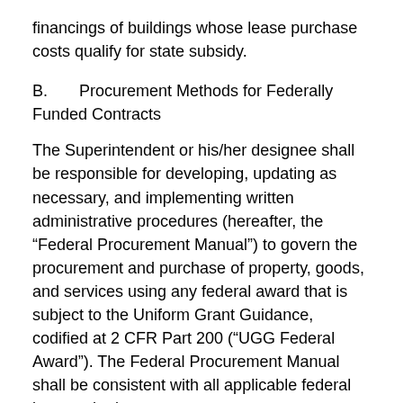financings of buildings whose lease purchase costs qualify for state subsidy.
B.      Procurement Methods for Federally Funded Contracts
The Superintendent or his/her designee shall be responsible for developing, updating as necessary, and implementing written administrative procedures (hereafter, the “Federal Procurement Manual”) to govern the procurement and purchase of property, goods, and services using any federal award that is subject to the Uniform Grant Guidance, codified at 2 CFR Part 200 (“UGG Federal Award”). The Federal Procurement Manual shall be consistent with all applicable federal laws and rules.
A “federal award” is any federal financial